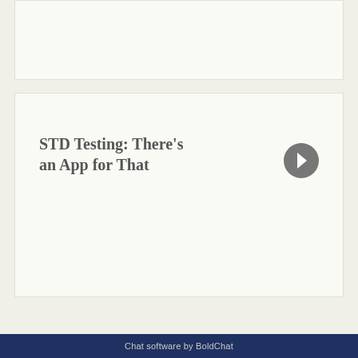STD Testing: There’s an App for That
Chat software by BoldChat